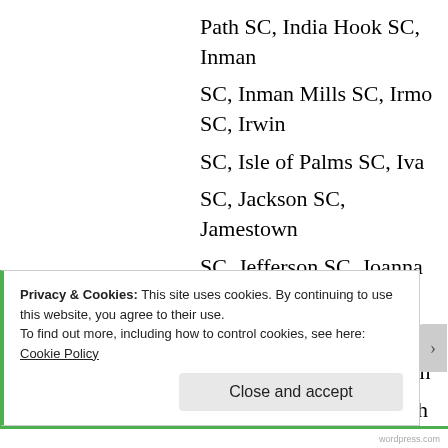Path SC, India Hook SC, Inman SC, Inman Mills SC, Irmo SC, Irwin SC, Isle of Palms SC, Iva SC, Jackson SC, Jamestown SC, Jefferson SC, Joanna SC, Johnsonville SC, Johnston SC, Jonesville SC, Judson SC, Kershaw SC, Kiawah Island SC, Kingstree SC, Kline SC, Ladson SC, Lake City SC, Lake Murray of
Privacy & Cookies: This site uses cookies. By continuing to use this website, you agree to their use.
To find out more, including how to control cookies, see here: Cookie Policy